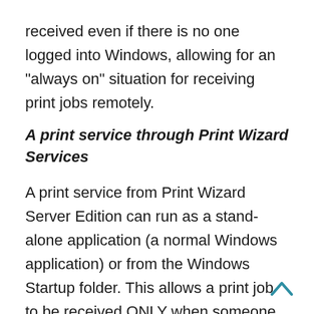received even if there is no one logged into Windows, allowing for an "always on" situation for receiving print jobs remotely.
A print service through Print Wizard Services
A print service from Print Wizard Server Edition can run as a stand-alone application (a normal Windows application) or from the Windows Startup folder. This allows a print job to be received ONLY when someone is logged into Windows and thus obeying the logged-in user's security settings and